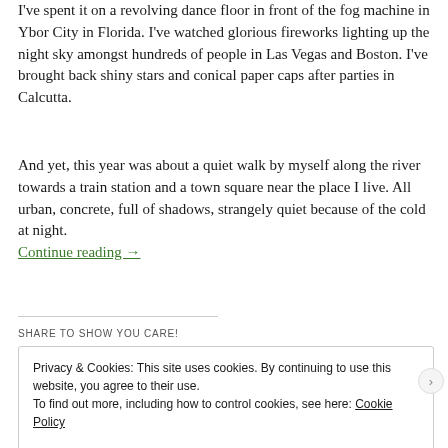I've spent it on a revolving dance floor in front of the fog machine in Ybor City in Florida. I've watched glorious fireworks lighting up the night sky amongst hundreds of people in Las Vegas and Boston. I've brought back shiny stars and conical paper caps after parties in Calcutta.
And yet, this year was about a quiet walk by myself along the river towards a train station and a town square near the place I live. All urban, concrete, full of shadows, strangely quiet because of the cold at night.
Continue reading →
SHARE TO SHOW YOU CARE!
Privacy & Cookies: This site uses cookies. By continuing to use this website, you agree to their use.
To find out more, including how to control cookies, see here: Cookie Policy
Close and accept